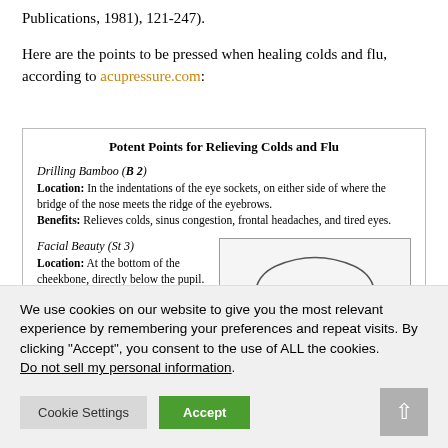Publications, 1981), 121-247).

Here are the points to be pressed when healing colds and flu, according to acupressure.com:
[Figure (screenshot): A screenshot of a table from acupressure.com titled 'Potent Points for Relieving Colds and Flu'. Shows two entries: 'Drilling Bamboo (B 2)' with Location and Benefits text, and 'Facial Beauty (St 3)' with Location text and a partial face diagram on the right.]
We use cookies on our website to give you the most relevant experience by remembering your preferences and repeat visits. By clicking “Accept”, you consent to the use of ALL the cookies.
Do not sell my personal information.